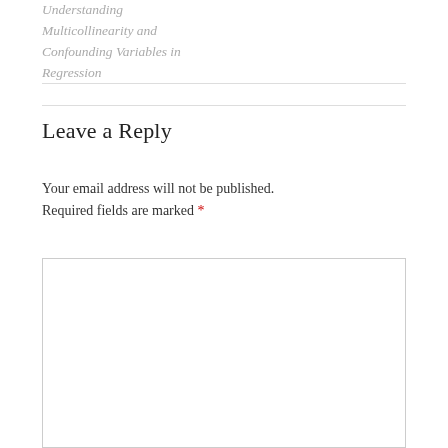Understanding Multicollinearity and Confounding Variables in Regression
Leave a Reply
Your email address will not be published. Required fields are marked *
COMMENT *